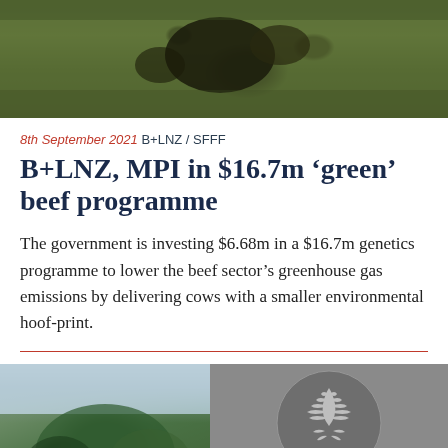[Figure (photo): Top photo of cattle/cows on green grass, partially cropped at top]
8th September 2021 B+LNZ / SFFF
B+LNZ, MPI in $16.7m ‘green’ beef programme
The government is investing $6.68m in a $16.7m genetics programme to lower the beef sector’s greenhouse gas emissions by delivering cows with a smaller environmental hoof-print.
[Figure (photo): Bottom left photo of green conifer tree against sky; bottom right photo of New Zealand silver fern logo on grey background]